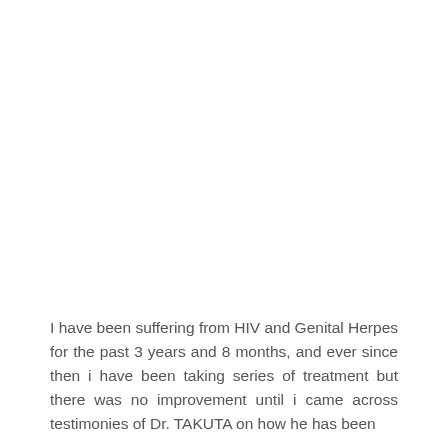I have been suffering from HIV and Genital Herpes for the past 3 years and 8 months, and ever since then i have been taking series of treatment but there was no improvement until i came across testimonies of Dr. TAKUTA on how he has been